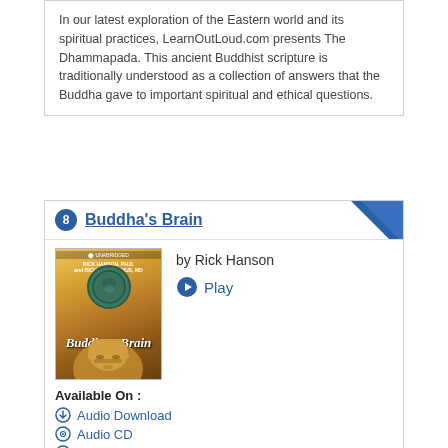In our latest exploration of the Eastern world and its spiritual practices, LearnOutLoud.com presents The Dhammapada. This ancient Buddhist scripture is traditionally understood as a collection of answers that the Buddha gave to important spiritual and ethical questions.
8 Buddha's Brain
by Rick Hanson
Play
Available On :
Audio Download
Audio CD
MP3 CD
The Buddha and other great teachers were born with brains built essentially like anyone else's and then they changed their brains in ways that changed the world.